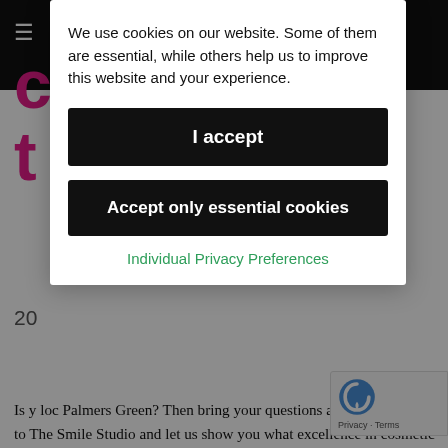[Figure (screenshot): Cookie consent modal overlay on a dental clinic website (The Smile Studio). Background shows dark header bar with hamburger menu icon, pink brand letters 'c' and 't', date '20', and body text about cosmetic dentistry in Palmers Green. The modal contains cookie policy text, 'I accept' button, 'Accept only essential cookies' button, and 'Individual Privacy Preferences' link. A reCAPTCHA badge appears bottom right.]
We use cookies on our website. Some of them are essential, while others help us to improve this website and your experience.
I accept
Accept only essential cookies
Individual Privacy Preferences
Is y... and loc... Palmers Green? Then bring your questions and smile wishes to The Smile Studio and let us show you what excellence in cosmetic dentistry can accomplish. Whether you are considering brightening your smile with teeth whitening or want to get your crooked teeth realigned with invisible adult braces like Invisalign or you would like to have a complete smile makeover, the cosmetic dental options with The Smile Studios in Palmers Green will make the difference you desire.
Teeth whitening is the most often requested cosmetic treat... and offers an affordable way to produce dramatic cosmetic...